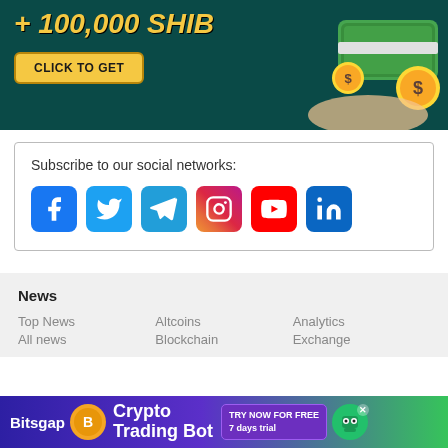[Figure (infographic): Dark teal banner advertisement showing '+ 100,000 SHIB' text in yellow italic, a yellow 'CLICK TO GET' button, and illustrated money/cash graphics on the right side.]
Subscribe to our social networks:
[Figure (infographic): Social media icons in a row: Facebook (blue), Twitter (light blue), Telegram (blue), Instagram (gradient), YouTube (red), LinkedIn (dark blue)]
News
Top News
All news
Altcoins
Blockchain
Analytics
Exchange
[Figure (infographic): Bitsgap Crypto Trading Bot advertisement banner at bottom with purple/green gradient, coin logo, and 'TRY NOW FOR FREE 7 days trial' button and robot character.]